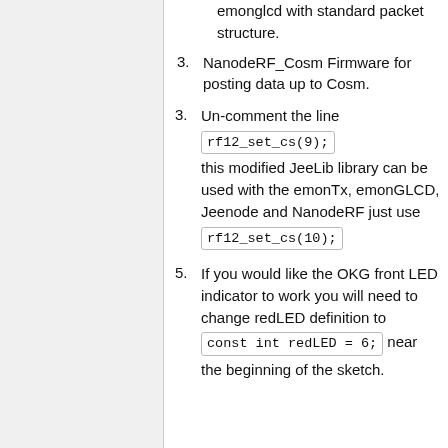emonglcd with standard packet structure.
3. NanodeRF_Cosm Firmware for posting data up to Cosm.
3. Un-comment the line rf12_set_cs(9); this modified JeeLib library can be used with the emonTx, emonGLCD, Jeenode and NanodeRF just use rf12_set_cs(10);
5. If you would like the OKG front LED indicator to work you will need to change redLED definition to const int redLED = 6; near the beginning of the sketch.